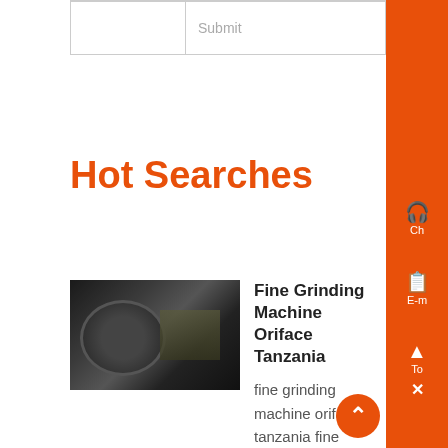|  | Submit |
Hot Searches
[Figure (photo): Industrial grinding machine in a factory setting, showing a large cylindrical drum/roller with factory background]
Fine Grinding Machine Oriface Tanzania
fine grinding machine oriface tanzania fine grinding machine oriface tanzania HFC Refrigerants 55 HST Hydraulic Cone CrusherHST series hydraulic cone crusher is combined with technology such as machinery, hydraulic